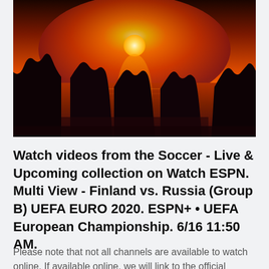[Figure (photo): Sunset over the ocean with silhouetted rocky formations against an orange and red sky, sun low on the horizon reflecting on the water.]
Watch videos from the Soccer - Live & Upcoming collection on Watch ESPN. Multi View - Finland vs. Russia (Group B) UEFA EURO 2020. ESPN+ • UEFA European Championship. 6/16 11:50 AM.
Please note that not all channels are available to watch online. If available online, we will link to the official